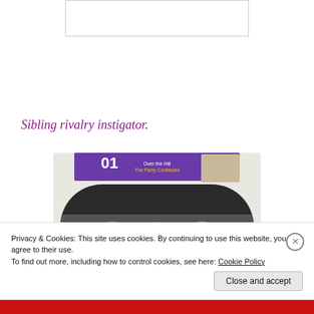[Figure (other): Placeholder rectangle at top center, white with gray border]
Sibling rivalry instigator.
[Figure (photo): Photo of three people posing together inside a rounded photo booth mirror frame, with a purple '101 Over the Hill – The Party Continues' party banner above them]
Privacy & Cookies: This site uses cookies. By continuing to use this website, you agree to their use.
To find out more, including how to control cookies, see here: Cookie Policy
Close and accept